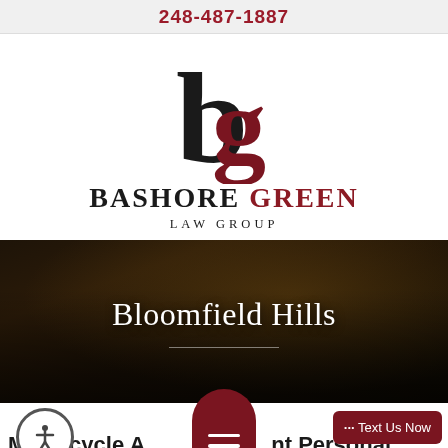248-487-1887
[Figure (logo): Bashore Green Law Group logo with stylized 'b' and 'g' letterforms in black and dark red]
BASHORE GREEN LAW GROUP
[Figure (photo): Dark motorcycle hero image with 'Bloomfield Hills' text overlay and horizontal divider line]
Motorcycle Accident Personal